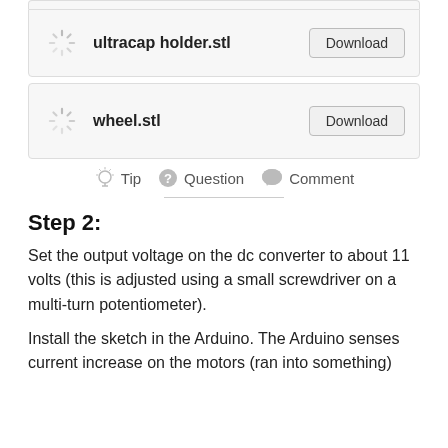[Figure (other): File download card for ultracap holder.stl with spinner icon and Download button]
[Figure (other): File download card for wheel.stl with spinner icon and Download button]
Tip  Question  Comment
Step 2:
Set the output voltage on the dc converter to about 11 volts (this is adjusted using a small screwdriver on a multi-turn potentiometer).
Install the sketch in the Arduino. The Arduino senses current increase on the motors (ran into something)